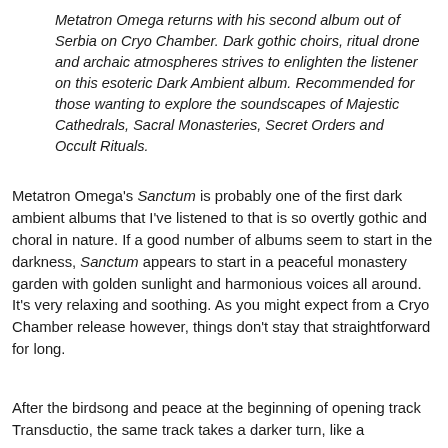Metatron Omega returns with his second album out of Serbia on Cryo Chamber. Dark gothic choirs, ritual drone and archaic atmospheres strives to enlighten the listener on this esoteric Dark Ambient album. Recommended for those wanting to explore the soundscapes of Majestic Cathedrals, Sacral Monasteries, Secret Orders and Occult Rituals.
Metatron Omega's Sanctum is probably one of the first dark ambient albums that I've listened to that is so overtly gothic and choral in nature. If a good number of albums seem to start in the darkness, Sanctum appears to start in a peaceful monastery garden with golden sunlight and harmonious voices all around. It's very relaxing and soothing. As you might expect from a Cryo Chamber release however, things don't stay that straightforward for long.
After the birdsong and peace at the beginning of opening track Transductio, the same track takes a darker turn, like a